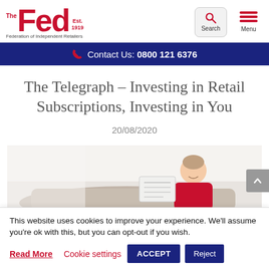[Figure (logo): The Fed logo - Federation of Independent Retailers, Est. 1919, red text]
Contact Us: 0800 121 6376
The Telegraph – Investing in Retail Subscriptions, Investing in You
20/08/2020
[Figure (photo): Man in red shirt smiling and reading a newspaper, seated on a sofa, light background]
This website uses cookies to improve your experience. We'll assume you're ok with this, but you can opt-out if you wish.
Read More   Cookie settings   ACCEPT   Reject